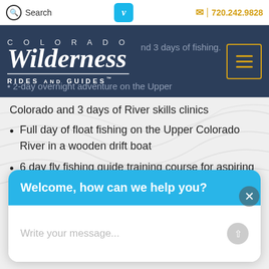Search | V | 720.242.9828
[Figure (logo): Colorado Wilderness Rides and Guides logo with menu button on dark blue background]
and 3 days of fishing. 2-day overnight adventure on the Upper
Colorado and 3 days of River skills clinics
Full day of float fishing on the Upper Colorado River in a wooden drift boat
6 day fly fishing guide training course for aspiring anglers and anyone wanting to improve their fly fishing learning curve.
Welcome, how can we help you?
Write your message...